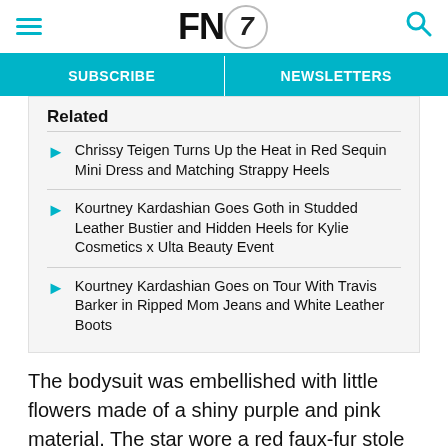FN7 — Footwear News header with hamburger menu and search icon
SUBSCRIBE | NEWSLETTERS
Related
Chrissy Teigen Turns Up the Heat in Red Sequin Mini Dress and Matching Strappy Heels
Kourtney Kardashian Goes Goth in Studded Leather Bustier and Hidden Heels for Kylie Cosmetics x Ulta Beauty Event
Kourtney Kardashian Goes on Tour With Travis Barker in Ripped Mom Jeans and White Leather Boots
The bodysuit was embellished with little flowers made of a shiny purple and pink material. The star wore a red faux-fur stole around her shoulders and down her arms, keeping her warm. The red bodysuit transitioned into a tulle maxi skirt that left little to the imagination. The